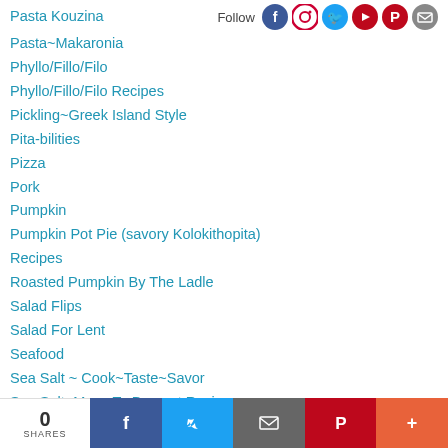Pasta Kouzina
Pasta~Makaronia
Phyllo/Fillo/Filo
Phyllo/Fillo/Filo Recipes
Pickling~Greek Island Style
Pita-bilities
Pizza
Pork
Pumpkin
Pumpkin Pot Pie (savory Kolokithopita)
Recipes
Roasted Pumpkin By The Ladle
Salad Flips
Salad For Lent
Seafood
Sea Salt ~ Cook~Taste~Savor
Sea Salt~Meze To Dessert Recipes
Sea Salt ~ Natural & Flavored & Infused
Shish Kabob
0 SHARES | Facebook | Twitter | Email | Pinterest | More